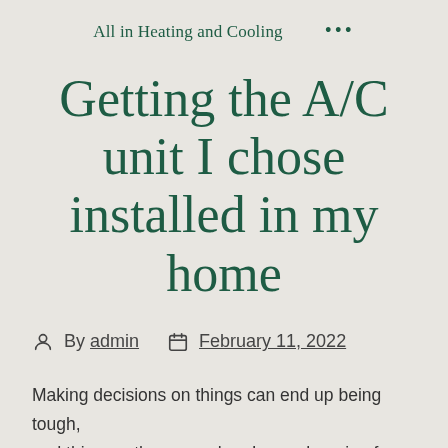All in Heating and Cooling   •••
Getting the A/C unit I chose installed in my home
By admin   February 11, 2022
Making decisions on things can end up being tough, and this was the case when I was shopping for a